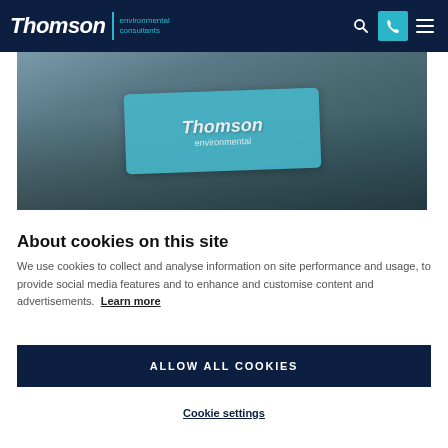Thomson environmental consultants
[Figure (photo): Group of people outdoors holding a light blue Thomson Environmental banner/flag]
About cookies on this site
We use cookies to collect and analyse information on site performance and usage, to provide social media features and to enhance and customise content and advertisements. Learn more
ALLOW ALL COOKIES
Cookie settings